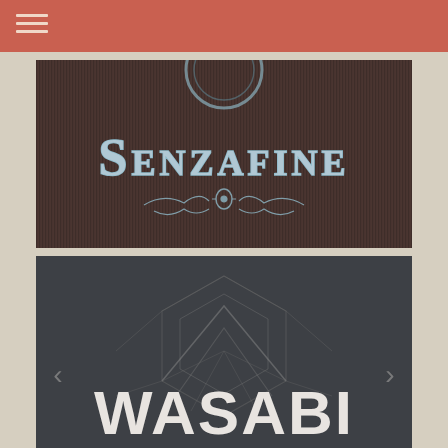[Figure (logo): Senzafine logo: dark brown textured background with ornate silver text 'SENZAFINE' and decorative flourish below]
[Figure (logo): Wasabi logo: dark gray background with geometric diamond/chevron pattern and bold white text 'WASABI']